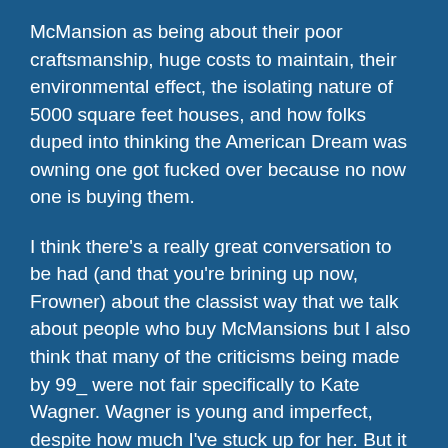McMansion as being about their poor craftsmanship, huge costs to maintain, their environmental effect, the isolating nature of 5000 square feet houses, and how folks duped into thinking the American Dream was owning one got fucked over because no now one is buying them.
I think there's a really great conversation to be had (and that you're brining up now, Frowner) about the classist way that we talk about people who buy McMansions but I also think that many of the criticisms being made by 99_ were not fair specifically to Kate Wagner. Wagner is young and imperfect, despite how much I've stuck up for her. But it does bother me, as someone who has read I think all of her posts, to see criticisms leveled at her contradicting what she's said herself.
At the same time, yes, I totally think there's valid criticism about making fun of the way these homes are decorated. These are million dollar homes (she posts the listing price